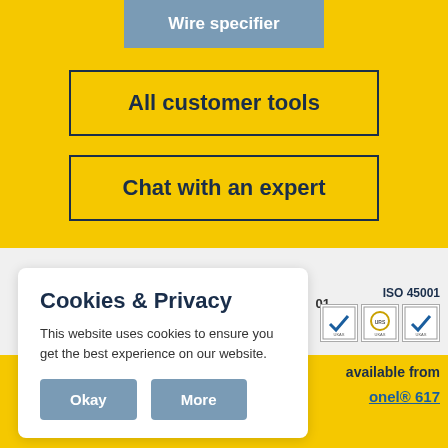Wire specifier
All customer tools
Chat with an expert
Cookies & Privacy
This website uses cookies to ensure you get the best experience on our website.
Okay
More
ISO 45001
available from
onel® 617